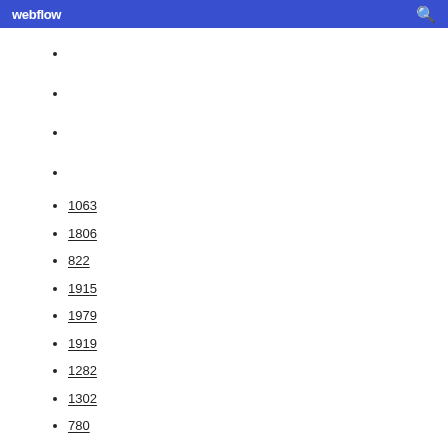webflow
1063
1806
822
1915
1979
1919
1282
1302
780